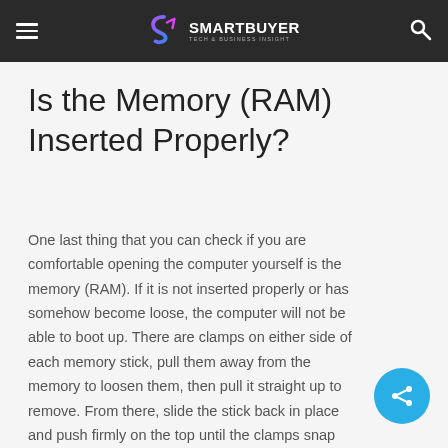SmartBuyer — Tech & Business Insight
Is the Memory (RAM) Inserted Properly?
One last thing that you can check if you are comfortable opening the computer yourself is the memory (RAM). If it is not inserted properly or has somehow become loose, the computer will not be able to boot up. There are clamps on either side of each memory stick, pull them away from the memory to loosen them, then pull it straight up to remove. From there, slide the stick back in place and push firmly on the top until the clamps snap back in place. After this, close the computer back up and try turning it